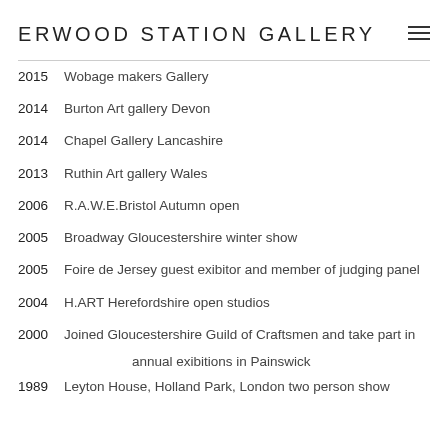ERWOOD STATION GALLERY
2015  Wobage makers Gallery
2014  Burton Art gallery Devon
2014  Chapel Gallery Lancashire
2013  Ruthin Art gallery Wales
2006  R.A.W.E.Bristol Autumn open
2005  Broadway Gloucestershire winter show
2005  Foire de Jersey guest exibitor and member of judging panel
2004  H.ART Herefordshire open studios
2000  Joined Gloucestershire Guild of Craftsmen and take part in annual exibitions in Painswick
1989  Leyton House, Holland Park, London two person show